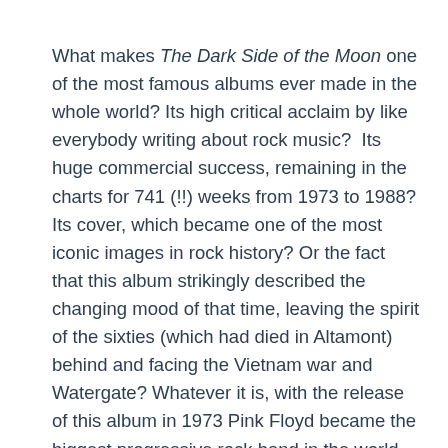What makes The Dark Side of the Moon one of the most famous albums ever made in the whole world? Its high critical acclaim by like everybody writing about rock music?  Its huge commercial success, remaining in the charts for 741 (!!) weeks from 1973 to 1988? Its cover, which became one of the most iconic images in rock history? Or the fact that this album strikingly described the changing mood of that time, leaving the spirit of the sixties (which had died in Altamont) behind and facing the Vietnam war and Watergate? Whatever it is, with the release of this album in 1973 Pink Floyd became the biggest progressive rock band in the world.
Pink Floyd gradually came into existence after architecture students Roger Waters and Nick Mason started to play in some bands together. Later on they